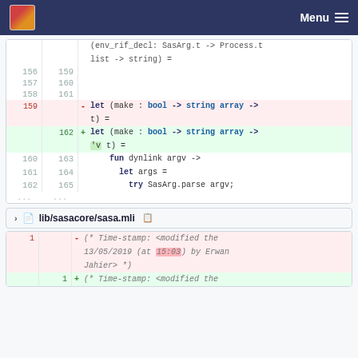Menu
[Figure (screenshot): Code diff showing OCaml source changes. Lines 156-162 old, 159-165 new. Removed: let (make : bool -> string array -> t) =. Added: let (make : bool -> string array -> 'v t) =. Context lines: fun dynlink argv ->, let args =, try SasArg.parse argv;]
lib/sasacore/sasa.mli
[Figure (screenshot): Code diff for lib/sasacore/sasa.mli. Line 1 deleted: (* Time-stamp: <modified the 13/05/2019 (at 15:03) by Erwan Jahier> *). Line 1 added: (* Time-stamp: <modified the]